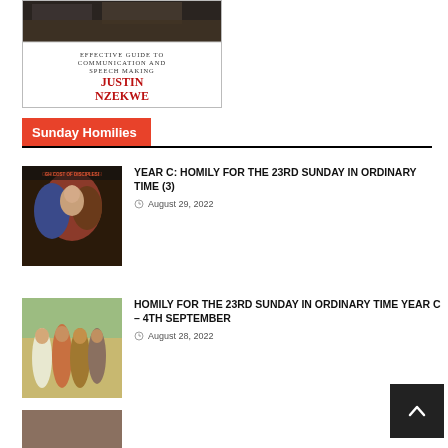[Figure (illustration): Book cover: 'Effective Guide to Communication and Speech Making' by Justin Nzekwe. Dark image at top, white panel below with title text and red author name.]
Sunday Homilies
[Figure (photo): Religious painting showing Jesus with disciples - The High Cost of Discipleship]
YEAR C: HOMILY FOR THE 23RD SUNDAY IN ORDINARY TIME (3)
August 29, 2022
[Figure (photo): Religious painting showing Jesus with a group of followers in colorful robes]
HOMILY FOR THE 23RD SUNDAY IN ORDINARY TIME YEAR C – 4TH SEPTEMBER
August 28, 2022